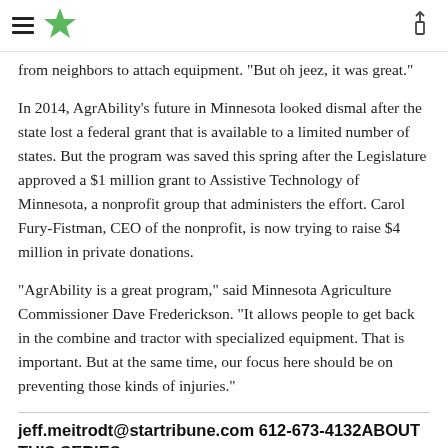Star Tribune header with hamburger menu, star logo, and share icon
from neighbors to attach equipment. "But oh jeez, it was great."
In 2014, AgrAbility's future in Minnesota looked dismal after the state lost a federal grant that is available to a limited number of states. But the program was saved this spring after the Legislature approved a $1 million grant to Assistive Technology of Minnesota, a nonprofit group that administers the effort. Carol Fury-Fistman, CEO of the nonprofit, is now trying to raise $4 million in private donations.
"AgrAbility is a great program," said Minnesota Agriculture Commissioner Dave Frederickson. "It allows people to get back in the combine and tractor with specialized equipment. That is important. But at the same time, our focus here should be on preventing those kinds of injuries."
jeff.meitrodt@startribune.com 612-673-4132ABOUT THIS SERIES